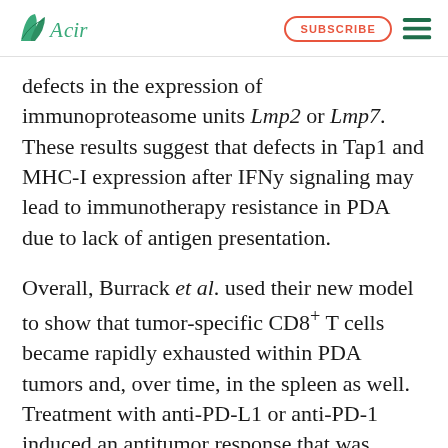ACIR | SUBSCRIBE
defects in the expression of immunoproteasome units Lmp2 or Lmp7. These results suggest that defects in Tap1 and MHC-I expression after IFNy signaling may lead to immunotherapy resistance in PDA due to lack of antigen presentation.
Overall, Burrack et al. used their new model to show that tumor-specific CD8+ T cells became rapidly exhausted within PDA tumors and, over time, in the spleen as well. Treatment with anti-PD-L1 or anti-PD-1 induced an antitumor response that was dependent on recruitment of tumor-specific